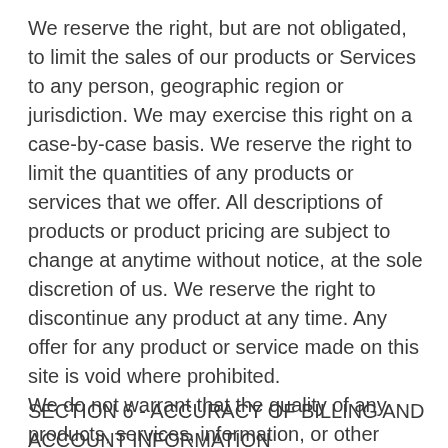We reserve the right, but are not obligated, to limit the sales of our products or Services to any person, geographic region or jurisdiction. We may exercise this right on a case-by-case basis. We reserve the right to limit the quantities of any products or services that we offer. All descriptions of products or product pricing are subject to change at anytime without notice, at the sole discretion of us. We reserve the right to discontinue any product at any time. Any offer for any product or service made on this site is void where prohibited.
We do not warrant that the quality of any products, services, information, or other material purchased or obtained by you will meet your expectations, or that any errors in the Service will be corrected.
SECTION 6 - ACCURACY OF BILLING AND ACCOUNT INFORMATION